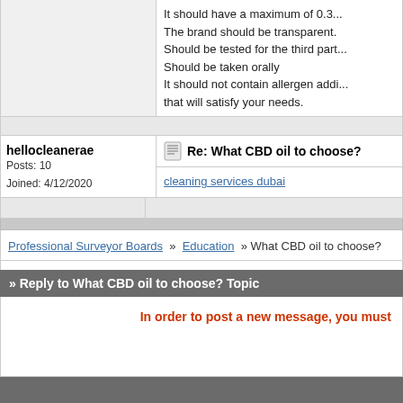It should have a maximum of 0.3... The brand should be transparent. Should be tested for the third part. Should be taken orally. It should not contain allergen addi... that will satisfy your needs.
hellocleanerae
Posts: 10
Joined: 4/12/2020
Re: What CBD oil to choose?
cleaning services dubai
Professional Surveyor Boards » Education » What CBD oil to choose?
» Reply to What CBD oil to choose? Topic
In order to post a new message, you must